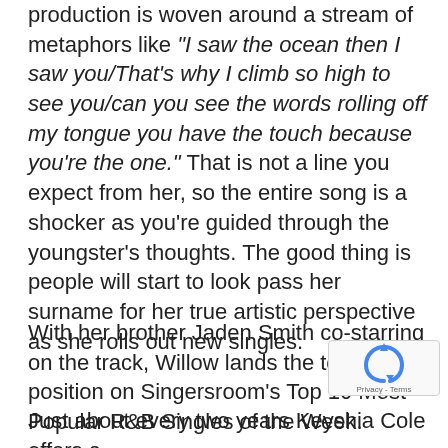production is woven around a stream of metaphors like "I saw the ocean then I saw you/That's why I climb so high to see you/can you see the words rolling off my tongue you have the touch because you're the one." That is not a line you expect from her, so the entire song is a shocker as you're guided through the youngster's thoughts. The good thing is people will start to look pass her surname for her true artistic perspective as she rolls out new singles.
With her brother Jaden Smith co-starring on the track, Willow lands the top position on Singersroom's Top 10 Most Popular R&B Singles of the Week.
Just about every two years Keyshia Cole offers a